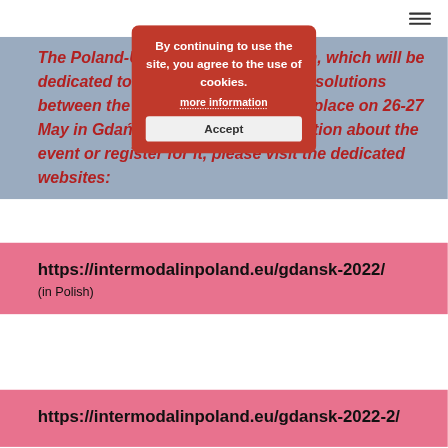The Poland-Ukraine Business Forum, which will be dedicated to intermodal and logistic solutions between the two countries, will take place on 26-27 May in Gdańsk. To get more information about the event or register for it, please visit the dedicated websites:
By continuing to use the site, you agree to the use of cookies.
more information
Accept
https://intermodalinpoland.eu/gdansk-2022/
(in Polish)
https://intermodalinpoland.eu/gdansk-2022-2/